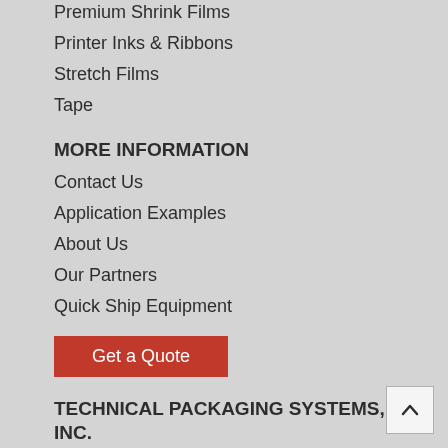Premium Shrink Films
Printer Inks & Ribbons
Stretch Films
Tape
MORE INFORMATION
Contact Us
Application Examples
About Us
Our Partners
Quick Ship Equipment
Get a Quote
TECHNICAL PACKAGING SYSTEMS, INC.
6389 Valley Industrial Drive
Kalamazoo, MI 49009 USA
Phone (800) 951-9100